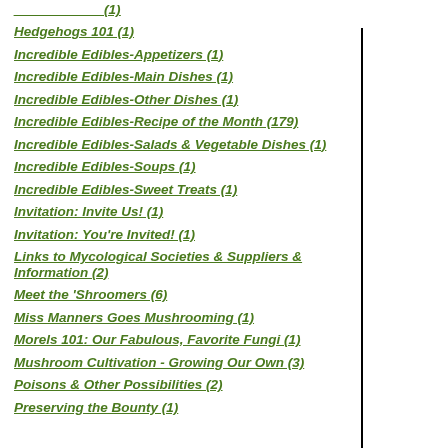Hedgehogs 101 (1)
Incredible Edibles-Appetizers (1)
Incredible Edibles-Main Dishes (1)
Incredible Edibles-Other Dishes (1)
Incredible Edibles-Recipe of the Month (179)
Incredible Edibles-Salads & Vegetable Dishes (1)
Incredible Edibles-Soups (1)
Incredible Edibles-Sweet Treats (1)
Invitation: Invite Us! (1)
Invitation: You're Invited! (1)
Links to Mycological Societies & Suppliers & Information (2)
Meet the 'Shroomers (6)
Miss Manners Goes Mushrooming (1)
Morels 101: Our Fabulous, Favorite Fungi (1)
Mushroom Cultivation - Growing Our Own (3)
Poisons & Other Possibilities (2)
Preserving the Bounty (1)